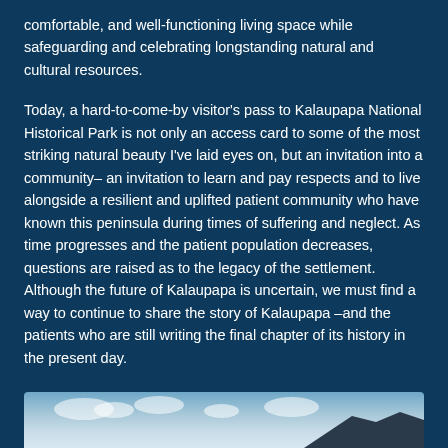comfortable, and well-functioning living space while safeguarding and celebrating longstanding natural and cultural resources.
Today, a hard-to-come-by visitor's pass to Kalaupapa National Historical Park is not only an access card to some of the most striking natural beauty I've laid eyes on, but an invitation into a community– an invitation to learn and pay respects and to live alongside a resilient and uplifted patient community who have known this peninsula during times of suffering and neglect. As time progresses and the patient population decreases, questions are raised as to the legacy of the settlement. Although the future of Kalaupapa is uncertain, we must find a way to continue to share the story of Kalaupapa –and the patients who are still writing the final chapter of its history in the present day.
[Figure (photo): Partial view of a landscape photograph showing sky with clouds and dark mountain/cliff at bottom right, against the dark blue background of the page.]